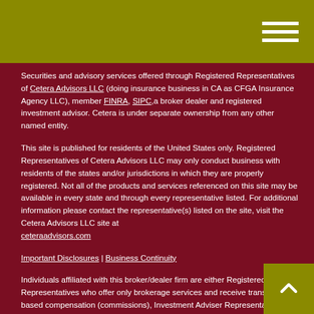Securities and advisory services offered through Registered Representatives of Cetera Advisors LLC (doing insurance business in CA as CFGA Insurance Agency LLC), member FINRA, SIPC,a broker dealer and registered investment advisor. Cetera is under separate ownership from any other named entity.
This site is published for residents of the United States only. Registered Representatives of Cetera Advisors LLC may only conduct business with residents of the states and/or jurisdictions in which they are properly registered. Not all of the products and services referenced on this site may be available in every state and through every representative listed. For additional information please contact the representative(s) listed on the site, visit the Cetera Advisors LLC site at ceteraadvisors.com
Important Disclosures | Business Continuity
Individuals affiliated with this broker/dealer firm are either Registered Representatives who offer only brokerage services and receive transaction-based compensation (commissions), Investment Adviser Representatives who offer only investment advisory services and receive fees based on assets, or both Registered Representatives and Investment Adviser Representatives, who can offer both services.